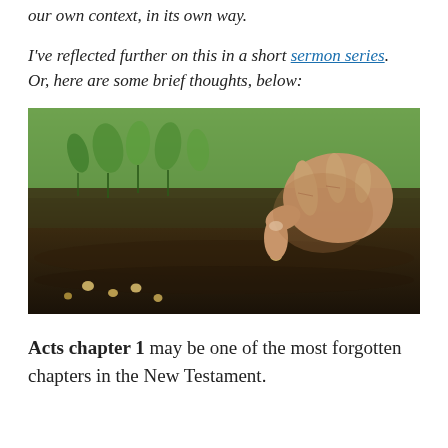our own context, in its own way.
I've reflected further on this in a short sermon series. Or, here are some brief thoughts, below:
[Figure (photo): A close-up photograph of a person's hand planting or placing a small seed into dark soil, with green seedlings visible in the background.]
Acts chapter 1 may be one of the most forgotten chapters in the New Testament.